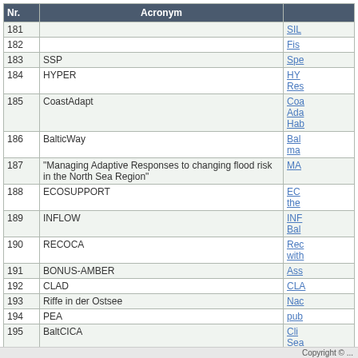| Nr. | Acronym |  |
| --- | --- | --- |
| 181 |  | SIL |
| 182 |  | Fis |
| 183 | SSP | Spe |
| 184 | HYPER | HY
Res |
| 185 | CoastAdapt | Coa
Ada
Hab |
| 186 | BalticWay | Bal
ma |
| 187 | "Managing Adaptive Responses to changing flood risk in the North Sea Region" | MA |
| 188 | ECOSUPPORT | EC
the |
| 189 | INFLOW | INF
Bal |
| 190 | RECOCA | Rec
with |
| 191 | BONUS-AMBER | Ass |
| 192 | CLAD | CLA |
| 193 | Riffe in der Ostsee | Nac |
| 194 | PEA | pub |
| 195 | BaltCICA | Cli
Sea |
| 196 | Baltic Green Belt | Bal |
| 197 | MyOcean | MyO |
| 198 | WISER | WIS
ass |
| 199 | COHIBA | Con |
| 200 | SMOCS | sus |